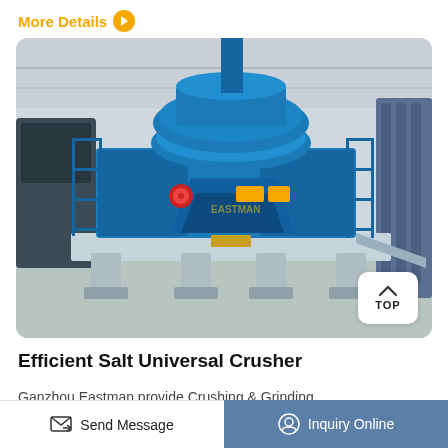More Details >
[Figure (photo): Large blue industrial salt crusher machine (VSI crusher) displayed in a factory/warehouse setting. The machine is painted blue, mounted on a steel frame platform with support legs. A blue guardrail is visible on the right side. The background shows a large industrial hall with high ceilings and overhead cranes.]
Efficient Salt Universal Crusher
Ganzhou Eastman provide Crushing & Grinding equipment from here. specifically, our machines are
Send Message
Inquiry Online